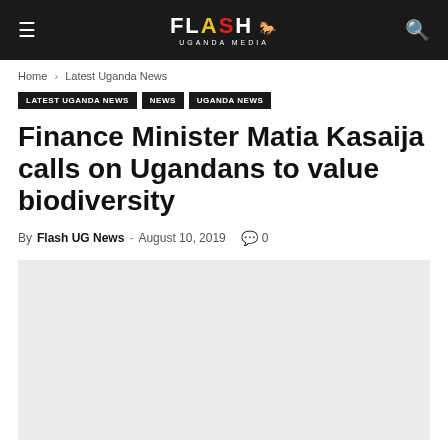Flash Uganda Media
Home › Latest Uganda News
LATEST UGANDA NEWS · NEWS · UGANDA NEWS
Finance Minister Matia Kasaija calls on Ugandans to value biodiversity
By Flash UG News - August 10, 2019  0